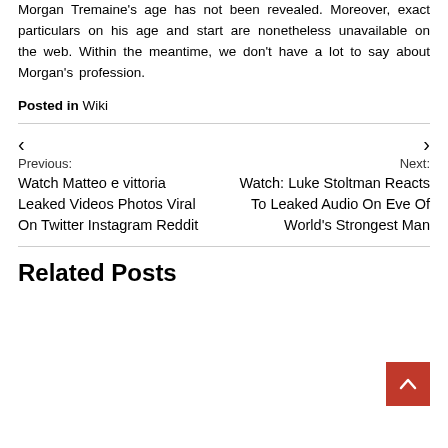Morgan Tremaine's age has not been revealed. Moreover, exact particulars on his age and start are nonetheless unavailable on the web. Within the meantime, we don't have a lot to say about Morgan's profession.
Posted in Wiki
< Previous: Watch Matteo e vittoria Leaked Videos Photos Viral On Twitter Instagram Reddit
> Next: Watch: Luke Stoltman Reacts To Leaked Audio On Eve Of World's Strongest Man
Related Posts